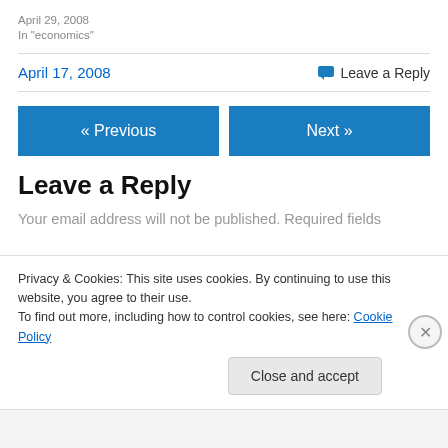April 29, 2008
In "economics"
April 17, 2008
Leave a Reply
« Previous
Next »
Leave a Reply
Your email address will not be published. Required fields
Privacy & Cookies: This site uses cookies. By continuing to use this website, you agree to their use.
To find out more, including how to control cookies, see here: Cookie Policy
Close and accept